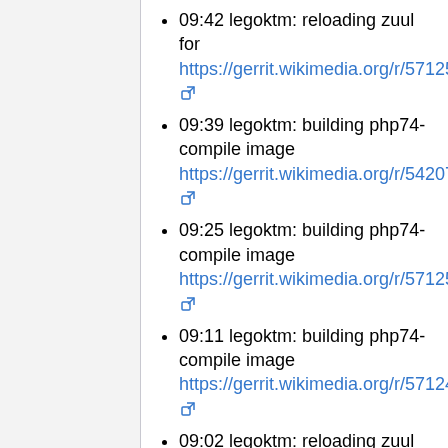09:42 legoktm: reloading zuul for https://gerrit.wikimedia.org/r/571254
09:39 legoktm: building php74-compile image https://gerrit.wikimedia.org/r/542071
09:25 legoktm: building php74-compile image https://gerrit.wikimedia.org/r/571251
09:11 legoktm: building php74-compile image https://gerrit.wikimedia.org/r/571247
09:02 legoktm: reloading zuul for https://gerrit.wikimedia.org/r/571242
08:44 legoktm: reloading zuul for https://gerrit.wikimedia.org/r/53972